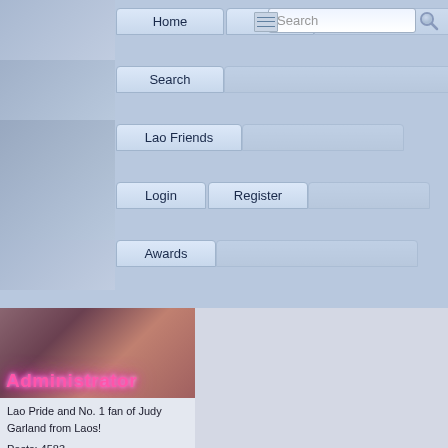Home | Help | Search | Search box | Lao Friends | Login | Register | Awards
[Figure (screenshot): Profile photo of a woman with brown/red hair, with pink glowing 'Administrator' text overlay]
Lao Pride and No. 1 fan of Judy Garland from Laos!
Posts: 4583
Vientiane, Laos
Gender: ♀
Age: 33
Awards: 5
[Figure (illustration): Award icons: gold star, silver star, TP badge, crossed tools badge, gold shield badge]
[Figure (photo): Judy Garland's Ruby Slippers - image of red sparkly shoes on dark background with white text title]